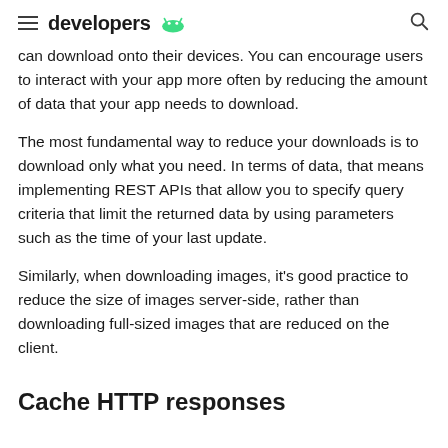developers
can download onto their devices. You can encourage users to interact with your app more often by reducing the amount of data that your app needs to download.
The most fundamental way to reduce your downloads is to download only what you need. In terms of data, that means implementing REST APIs that allow you to specify query criteria that limit the returned data by using parameters such as the time of your last update.
Similarly, when downloading images, it's good practice to reduce the size of images server-side, rather than downloading full-sized images that are reduced on the client.
Cache HTTP responses